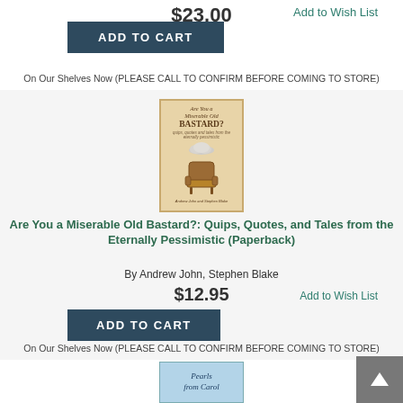$23.00
Add to Wish List
ADD TO CART
On Our Shelves Now (PLEASE CALL TO CONFIRM BEFORE COMING TO STORE)
[Figure (photo): Book cover: Are You a Miserable Old Bastard? Quips, Quotes, and Tales from the Eternally Pessimistic. Cover shows an armchair with a cloud above it on a beige background.]
Are You a Miserable Old Bastard?: Quips, Quotes, and Tales from the Eternally Pessimistic (Paperback)
By Andrew John, Stephen Blake
$12.95
Add to Wish List
ADD TO CART
On Our Shelves Now (PLEASE CALL TO CONFIRM BEFORE COMING TO STORE)
[Figure (photo): Book cover: Pearls from Carol — partial view, light blue cover.]